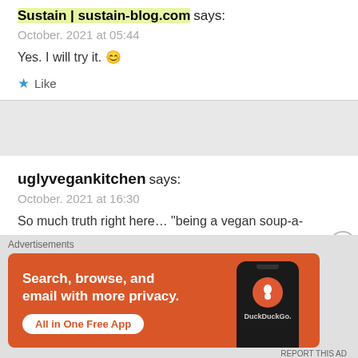Sustain | sustain-blog.com says:
October. 2021 at 05:44
Yes. I will try it. 😊
★ Like
uglyvegankitchen says:
October. 2021 at 16:30
So much truth right here… "being a vegan soup-a-holic…you have to think creatively if you don't want to repeat the same seven soup recipes." This one sounds awesome!
Advertisements
[Figure (infographic): DuckDuckGo advertisement banner on orange background: 'Search, browse, and email with more privacy. All in One Free App' with a phone showing DuckDuckGo logo]